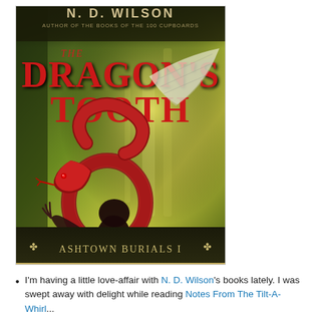[Figure (illustration): Book cover of 'The Dragon's Tooth' by N. D. Wilson, Ashtown Burials I. Features a large red serpent coiled around a dark figure, with a winged creature in the background against a green jungle setting. Author credit reads 'Author of the Books of the 100 Cupboards' at the top.]
I'm having a little love-affair with N. D. Wilson's books lately. I was swept away with delight while reading Notes From The Tilt-A-Whirl...